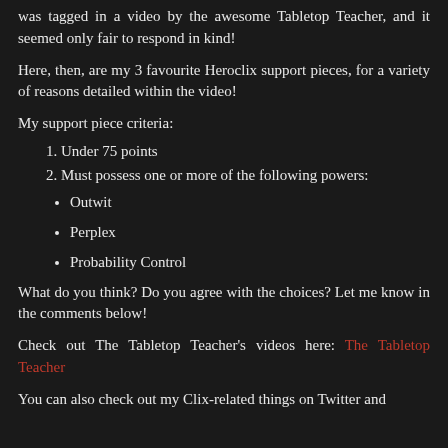was tagged in a video by the awesome Tabletop Teacher, and it seemed only fair to respond in kind!
Here, then, are my 3 favourite Heroclix support pieces, for a variety of reasons detailed within the video!
My support piece criteria:
1. Under 75 points
2. Must possess one or more of the following powers:
Outwit
Perplex
Probability Control
What do you think? Do you agree with the choices? Let me know in the comments below!
Check out The Tabletop Teacher's videos here: The Tabletop Teacher
You can also check out my Clix-related things on Twitter and